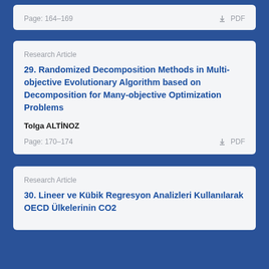Page: 164-169
PDF
Research Article
29. Randomized Decomposition Methods in Multi-objective Evolutionary Algorithm based on Decomposition for Many-objective Optimization Problems
Tolga ALTİNOZ
Page: 170-174
PDF
Research Article
30. Lineer ve Kübik Regresyon Analizleri Kullanılarak OECD Ülkelerinin CO2